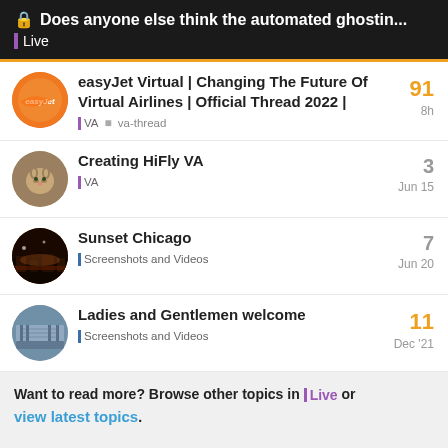🔒 Does anyone else think the automated ghostin...
Live
easyJet Virtual | Changing The Future Of Virtual Airlines | Official Thread 2022 | — VA, va-thread — 8h — 91 replies
Creating HiFly VA — VA — Jun 15 — 3 replies
Sunset Chicago — Screenshots and Videos — Jun 20 — 7 replies
Ladies and Gentlemen welcome — Screenshots and Videos — Dec '21 — 11 replies
Want to read more? Browse other topics in Live or view latest topics.